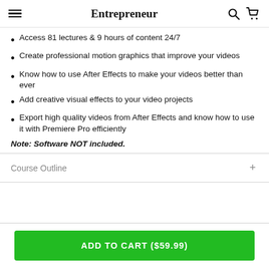Entrepreneur
Access 81 lectures & 9 hours of content 24/7
Create professional motion graphics that improve your videos
Know how to use After Effects to make your videos better than ever
Add creative visual effects to your video projects
Export high quality videos from After Effects and know how to use it with Premiere Pro efficiently
Note: Software NOT included.
Course Outline
ADD TO CART ($59.99)